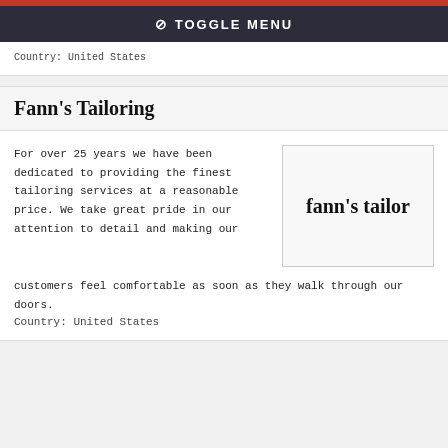TOGGLE MENU
Country: United States
Fann's Tailoring
For over 25 years we have been dedicated to providing the finest tailoring services at a reasonable price. We take great pride in our attention to detail and making our customers feel comfortable as soon as they walk through our doors.
[Figure (logo): Fann's Tailor logo text in bold serif font]
Country: United States